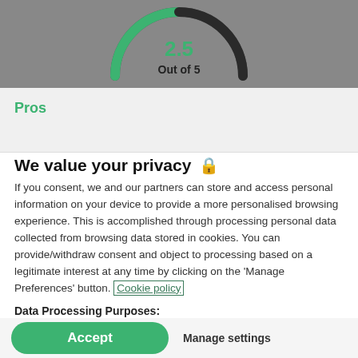[Figure (other): Partial gauge/donut chart showing score 2.5 out of 5, with green arc and dark arc, on grey background banner]
Pros
We value your privacy 🔒
If you consent, we and our partners can store and access personal information on your device to provide a more personalised browsing experience. This is accomplished through processing personal data collected from browsing data stored in cookies. You can provide/withdraw consent and object to processing based on a legitimate interest at any time by clicking on the 'Manage Preferences' button. Cookie policy
Data Processing Purposes: Store and/or access information on a device. Personalised ads and content, ad and content measurement, audience insights and product development.
List of Partners (vendors)
Accept   Manage settings